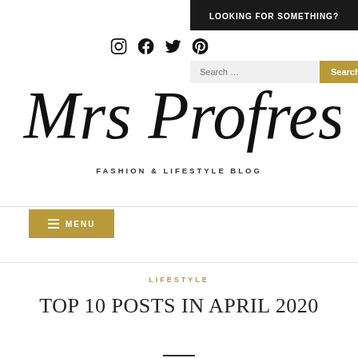LOOKING FOR SOMETHING?
[Figure (logo): Social media icons: Instagram, Facebook, Twitter, Pinterest]
[Figure (logo): Search bar with gold Search button]
[Figure (logo): Mrs Profresh cursive script logo]
FASHION & LIFESTYLE BLOG
MENU
LIFESTYLE
TOP 10 POSTS IN APRIL 2020